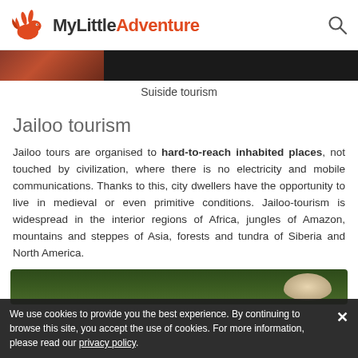MyLittle Adventure
[Figure (photo): Dark banner image with partial reddish photo visible on the left]
Suiside tourism
Jailoo tourism
Jailoo tours are organised to hard-to-reach inhabited places, not touched by civilization, where there is no electricity and mobile communications. Thanks to this, city dwellers have the opportunity to live in medieval or even primitive conditions. Jailoo-tourism is widespread in the interior regions of Africa, jungles of Amazon, mountains and steppes of Asia, forests and tundra of Siberia and North America.
[Figure (photo): Green jungle/nature photo with a light-colored flower or plant in the center-right]
We use cookies to provide you the best experience. By continuing to browse this site, you accept the use of cookies. For more information, please read our privacy policy.